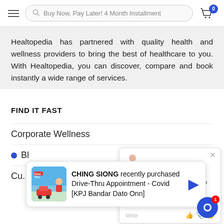Buy Now, Pay Later! 4 Month Installment
Healtopedia has partnered with quality health and wellness providers to bring the best of healthcare to you. With Healtopedia, you can discover, compare and book instantly a wide range of services.
FIND IT FAST
Corporate Wellness
Bl...
Cu... Groening
[Figure (screenshot): Chat popup with agent avatar and message: Hi I'm online and ready to help you. Is there anything I can help you with? From Healtopedia, just now.]
[Figure (screenshot): Notification popup: CHING SIONG recently purchased Drive-Thru Appointment - Covid [KPJ Bandar Dato Onn] with a drive-thru image thumbnail.]